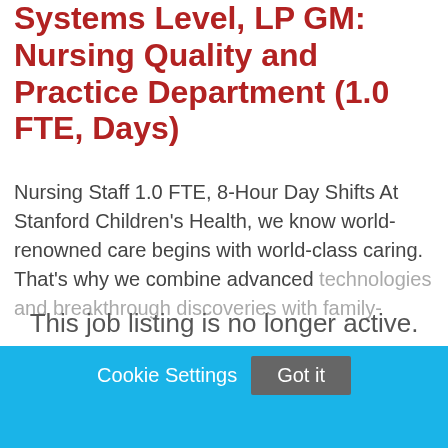Systems Level, LP GM: Nursing Quality and Practice Department (1.0 FTE, Days)
Nursing Staff 1.0 FTE, 8-Hour Day Shifts At Stanford Children's Health, we know world-renowned care begins with world-class caring. That's why we combine advanced technologies and breakthrough discoveries with family-
This job listing is no longer active.
Cookie Settings   Got it
We use cookies so that we can remember you and understand how you use our site. If you do not agree with our use of cookies, please change the current settings found in our Cookie Policy. Otherwise, you agree to the use of the cookies as they are currently set.